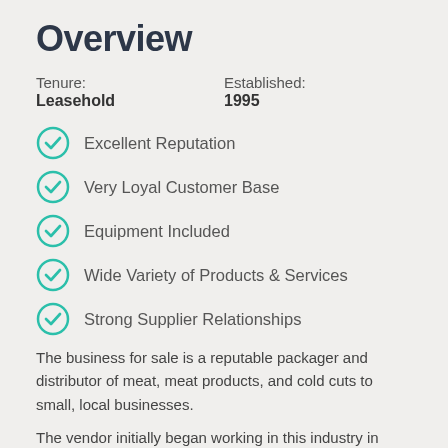Overview
Tenure: Leasehold   Established: 1995
Excellent Reputation
Very Loyal Customer Base
Equipment Included
Wide Variety of Products & Services
Strong Supplier Relationships
The business for sale is a reputable packager and distributor of meat, meat products, and cold cuts to small, local businesses.
The vendor initially began working in this industry in 1985, setting up the current business in 1995. This long-